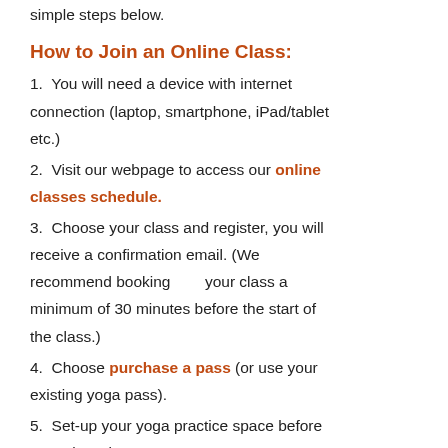simple steps below.
How to Join an Online Class:
1.  You will need a device with internet connection (laptop, smartphone, iPad/tablet etc.)
2.  Visit our webpage to access our online classes schedule.
3.  Choose your class and register, you will receive a confirmation email. (We recommend booking       your class a minimum of 30 minutes before the start of the class.)
4.  Choose purchase a pass (or use your existing yoga pass).
5.  Set-up your yoga practice space before your class time.